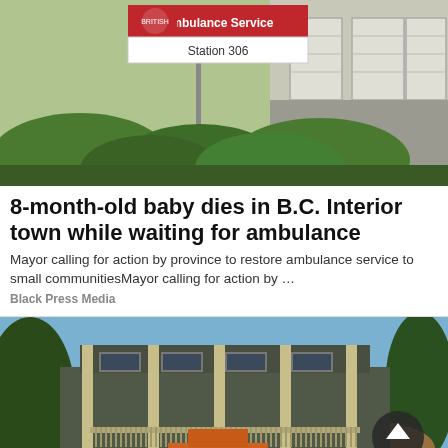[Figure (photo): Ambulance Service Station 306 sign in front of a building with garage doors and green bushes]
8-month-old baby dies in B.C. Interior town while waiting for ambulance
Mayor calling for action by province to restore ambulance service to small communitiesMayor calling for action by …
Black Press Media
[Figure (photo): A house being transported on a truck/heavy equipment vehicle, with construction site surroundings]